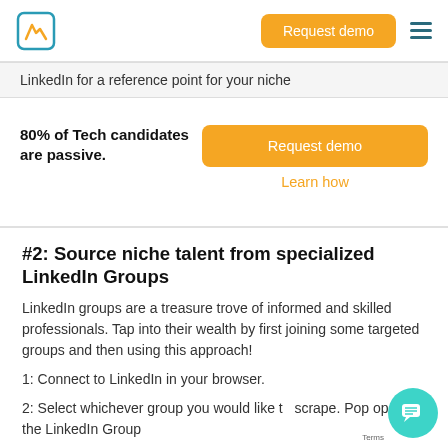LinkedIn for a reference point for your niche
80% of Tech candidates are passive.
Request demo
Learn how
#2: Source niche talent from specialized LinkedIn Groups
LinkedIn groups are a treasure trove of informed and skilled professionals. Tap into their wealth by first joining some targeted groups and then using this approach!
1: Connect to LinkedIn in your browser.
2: Select whichever group you would like to scrape. Pop open the LinkedIn Group